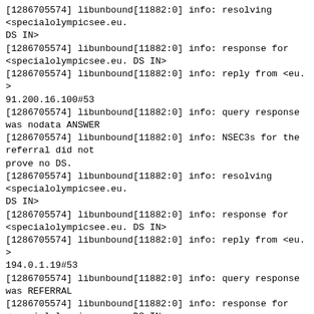[1286705574] libunbound[11882:0] info: resolving <specialolympicsee.eu.
DS IN>
[1286705574] libunbound[11882:0] info: response for <specialolympicsee.eu. DS IN>
[1286705574] libunbound[11882:0] info: reply from <eu.> 91.200.16.100#53
[1286705574] libunbound[11882:0] info: query response was nodata ANSWER
[1286705574] libunbound[11882:0] info: NSEC3s for the referral did not
prove no DS.
[1286705574] libunbound[11882:0] info: resolving <specialolympicsee.eu.
DS IN>
[1286705574] libunbound[11882:0] info: response for <specialolympicsee.eu. DS IN>
[1286705574] libunbound[11882:0] info: reply from <eu.> 194.0.1.19#53
[1286705574] libunbound[11882:0] info: query response was REFERRAL
[1286705574] libunbound[11882:0] info: response for <specialolympicsee.eu. DS IN>
[1286705574] libunbound[11882:0] info: reply from <specialolympicsee.eu.> 206.188.198.8#53
[1286705574] libunbound[11882:0] info: query response was nodata ANSWER
[1286705574] libunbound[11882:0] info: resolving <specialolympicsee.eu.
DS IN>